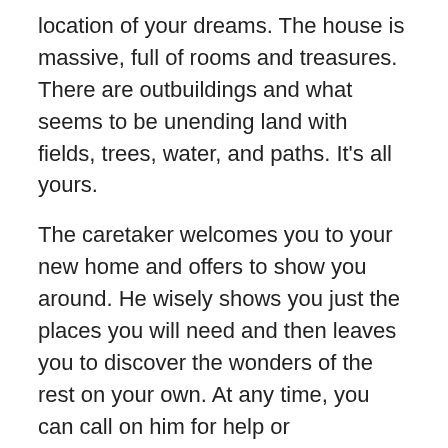location of your dreams. The house is massive, full of rooms and treasures. There are outbuildings and what seems to be unending land with fields, trees, water, and paths. It's all yours.
The caretaker welcomes you to your new home and offers to show you around. He wisely shows you just the places you will need and then leaves you to discover the wonders of the rest on your own. At any time, you can call on him for help or information; but he understands the special pleasure you will have in discovering these things on your own.
Something like that happens when we first enter into the knowledge of grace. We are told the basics, but there will be a lifetime of discovering the wonders and privileges of our relationship with Jesus.